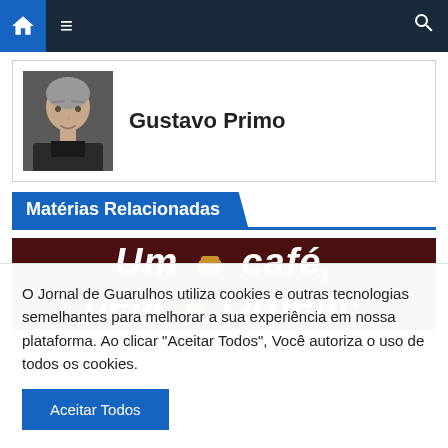Navigation bar with home, menu, and search icons
[Figure (photo): Profile photo of Gustavo Primo, a middle-aged man with gray hair wearing a dark jacket]
Gustavo Primo
Matérias Relacionadas
[Figure (illustration): Dark brown banner with white italic text reading 'Um café, pela Ordem!' with a golden coffee cup illustration]
O Jornal de Guarulhos utiliza cookies e outras tecnologias semelhantes para melhorar a sua experiência em nossa plataforma. Ao clicar "Aceitar Todos", Você autoriza o uso de todos os cookies.
Aceitar Todos